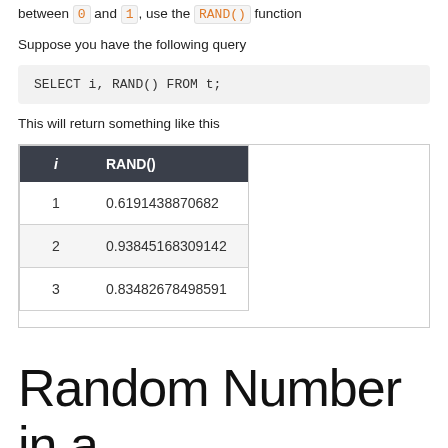between 0 and 1, use the RAND() function
Suppose you have the following query
This will return something like this
| i | RAND() |
| --- | --- |
| 1 | 0.6191438870682 |
| 2 | 0.93845168309142 |
| 3 | 0.83482678498591 |
Random Number in a